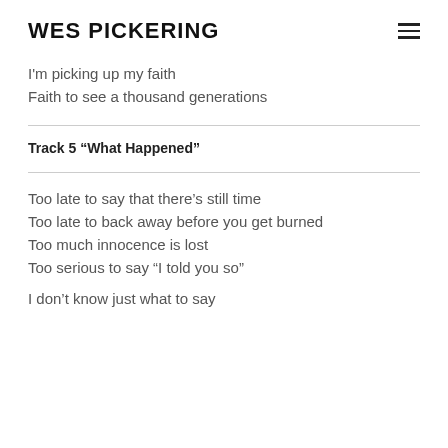WES PICKERING
I'm picking up my faith
Faith to see a thousand generations
Track 5 “What Happened”
Too late to say that there’s still time
Too late to back away before you get burned
Too much innocence is lost
Too serious to say “I told you so”
I don’t know just what to say